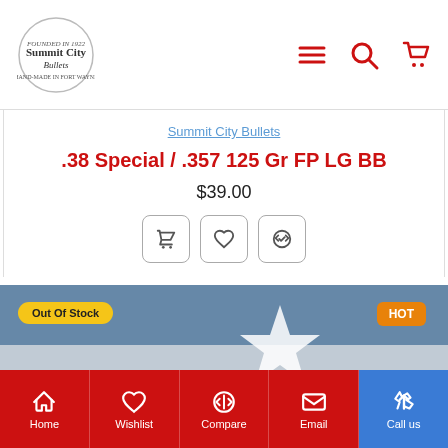Summit City Bullets - navigation header with logo, menu, search, and cart icons
Summit City Bullets
.38 Special / .357 125 Gr FP LG BB
$39.00
[Figure (screenshot): Product image showing a bullet tip in front of a Texas flag (red, white, blue with star). Overlaid with 'Out Of Stock' yellow badge and 'HOT' orange badge.]
Home | Wishlist | Compare | Email | Call us